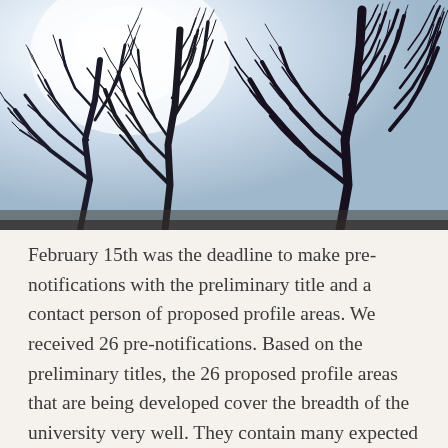[Figure (photo): Winter photograph of bare deciduous trees with dark silhouetted branches against a bright pale blue-white sky. Trees fill the right side and center; bright light source (sun) in upper left creating a glowing white-blue background.]
February 15th was the deadline to make pre-notifications with the preliminary title and a contact person of proposed profile areas. We received 26 pre-notifications. Based on the preliminary titles, the 26 proposed profile areas that are being developed cover the breadth of the university very well. They contain many expected topics in which Lund University has a strong track-record, but